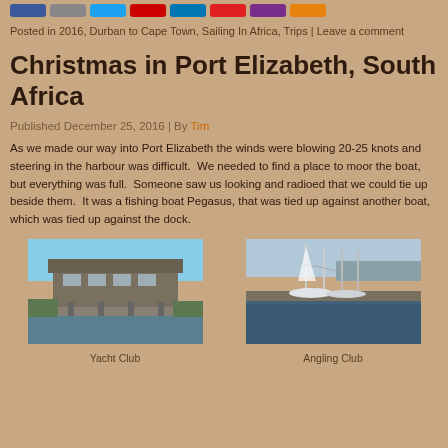[Social share buttons row]
Posted in 2016, Durban to Cape Town, Sailing In Africa, Trips | Leave a comment
Christmas in Port Elizabeth, South Africa
Published December 25, 2016 | By Tim
As we made our way into Port Elizabeth the winds were blowing 20-25 knots and steering in the harbour was difficult.  We needed to find a place to moor the boat, but everything was full.  Someone saw us looking and radioed that we could tie up beside them.  It was a fishing boat Pegasus, that was tied up against another boat, which was tied up against the dock.
[Figure (photo): Yacht Club building on waterfront, a modern multi-story structure on stilts over water]
Yacht Club
[Figure (photo): Angling Club marina with sailboats moored at dock]
Angling Club